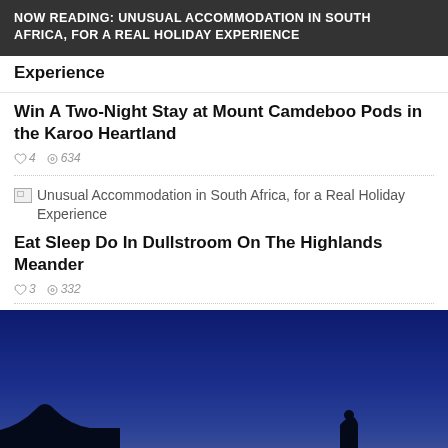NOW READING: UNUSUAL ACCOMMODATION IN SOUTH AFRICA, FOR A REAL HOLIDAY EXPERIENCE
Experience
Win A Two-Night Stay at Mount Camdeboo Pods in the Karoo Heartland
♡ 4  ⊙ 634
[Figure (photo): Broken image placeholder for Unusual Accommodation in South Africa, for a Real Holiday Experience]
Unusual Accommodation in South Africa, for a Real Holiday Experience
Eat Sleep Do In Dullstroom On The Highlands Meander
♡ 3  ⊙ 332
[Figure (photo): Night sky photo with dark silhouette of landscape at bottom, deep blue gradient sky]